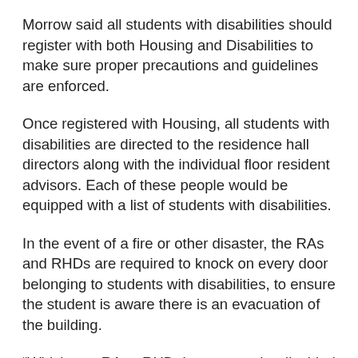Morrow said all students with disabilities should register with both Housing and Disabilities to make sure proper precautions and guidelines are enforced.
Once registered with Housing, all students with disabilities are directed to the residence hall directors along with the individual floor resident advisors. Each of these people would be equipped with a list of students with disabilities.
In the event of a fire or other disaster, the RAs and RHDs are required to knock on every door belonging to students with disabilities, to ensure the student is aware there is an evacuation of the building.
“Whichever RA or RHD that gets to the disabled students first is responsible for making sure that student gets out,” Morrow said.